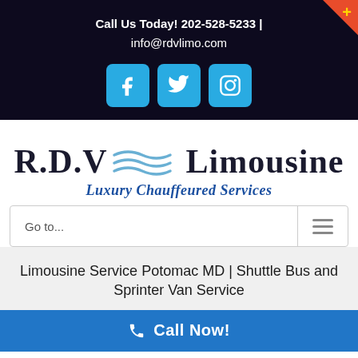Call Us Today! 202-528-5233 | info@rdvlimo.com
[Figure (logo): Social media icons: Facebook, Twitter, Instagram in blue rounded squares]
[Figure (logo): R.D.V Limousine logo with wave graphic and subtitle Luxury Chauffeured Services]
Go to...
Limousine Service Potomac MD | Shuttle Bus and Sprinter Van Service
Call Now!